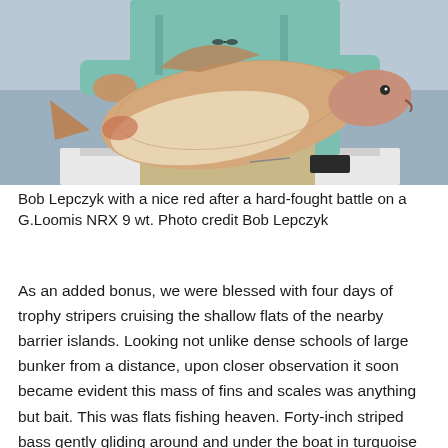[Figure (photo): A person in a teal/light blue fishing shirt holding up a large redfish (red drum) on a boat, with open water in the background.]
Bob Lepczyk with a nice red after a hard-fought battle on a G.Loomis NRX 9 wt. Photo credit Bob Lepczyk
As an added bonus, we were blessed with four days of trophy stripers cruising the shallow flats of the nearby barrier islands. Looking not unlike dense schools of large bunker from a distance, upon closer observation it soon became evident this mass of fins and scales was anything but bait. This was flats fishing heaven. Forty-inch striped bass gently gliding around and under the boat in turquoise